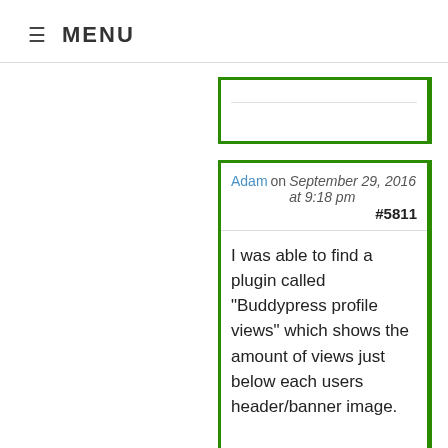≡ MENU
[Figure (screenshot): Partial comment card with two horizontal lines and a green border on the left and right sides]
Adam on September 29, 2016 at 9:18 pm #5811
I was able to find a plugin called “Buddypress profile views” which shows the amount of views just below each users header/banner image.

I did see the plugin you have, similar to how